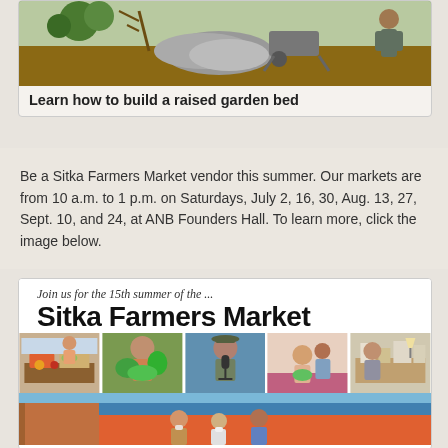[Figure (photo): Photo of a raised garden bed being built outdoors, showing soil and a wheelbarrow]
Learn how to build a raised garden bed
Be a Sitka Farmers Market vendor this summer. Our markets are from 10 a.m. to 1 p.m. on Saturdays, July 2, 16, 30, Aug. 13, 27, Sept. 10, and 24, at ANB Founders Hall. To learn more, click the image below.
[Figure (photo): Sitka Farmers Market promotional image showing 'Join us for the 15th summer of the ... Sitka Farmers Market' with a collage of market photos including vendors and visitors]